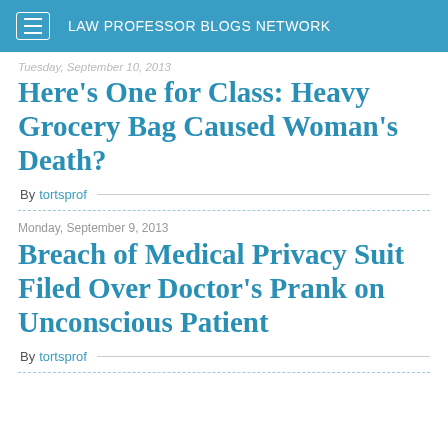LAW PROFESSOR BLOGS NETWORK
Tuesday, September 10, 2013
Here's One for Class: Heavy Grocery Bag Caused Woman's Death?
By tortsprof
Monday, September 9, 2013
Breach of Medical Privacy Suit Filed Over Doctor's Prank on Unconscious Patient
By tortsprof